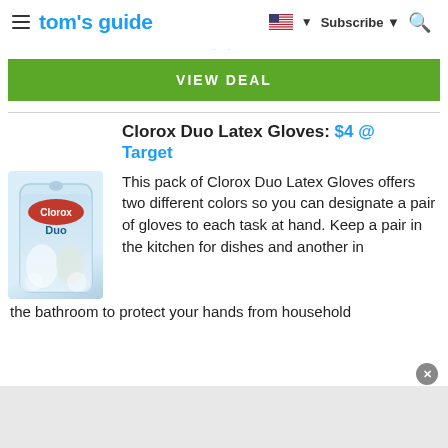tom's guide | Subscribe
. .
VIEW DEAL
Clorox Duo Latex Gloves: $4 @ Target
[Figure (photo): Clorox Duo Latex Gloves product package — white and blue bag with Clorox Duo branding, showing latex gloves inside]
This pack of Clorox Duo Latex Gloves offers two different colors so you can designate a pair of gloves to each task at hand. Keep a pair in the kitchen for dishes and another in the bathroom to protect your hands from household